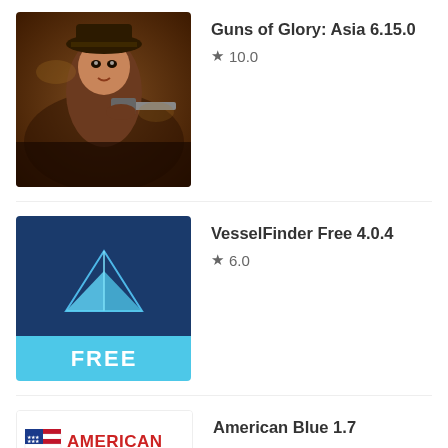[Figure (screenshot): Guns of Glory: Asia 6.15.0 app icon - steampunk woman with gun and hat]
Guns of Glory: Asia 6.15.0
★ 10.0
[Figure (screenshot): VesselFinder Free 4.0.4 app icon - blue background with paper boat logo and FREE banner]
VesselFinder Free 4.0.4
★ 6.0
[Figure (logo): American Blue Private Car Service logo with US flag icon]
American Blue 1.7
★
Leave a Reply
Your email address will not be published. Required fields are marked *